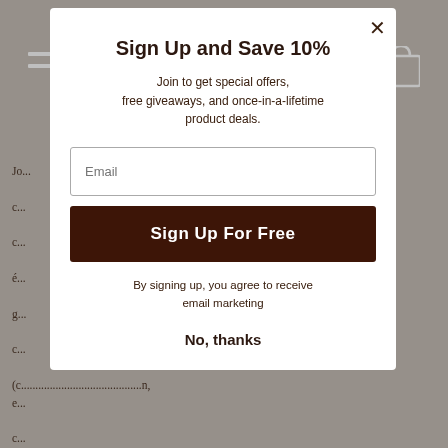[Figure (screenshot): Website popup modal with dark brown header navigation bar and gray body background with partially visible French text]
Sign Up and Save 10%
Join to get special offers, free giveaways, and once-in-a-lifetime product deals.
Email (input field placeholder)
Sign Up For Free
By signing up, you agree to receive email marketing
No, thanks